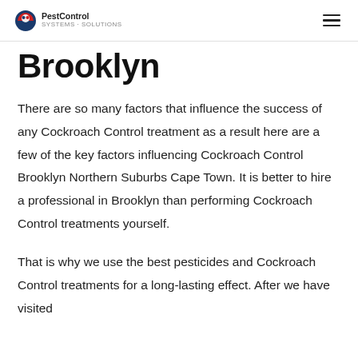PestControl
Brooklyn
There are so many factors that influence the success of any Cockroach Control treatment as a result here are a few of the key factors influencing Cockroach Control Brooklyn Northern Suburbs Cape Town. It is better to hire a professional in Brooklyn than performing Cockroach Control treatments yourself.
That is why we use the best pesticides and Cockroach Control treatments for a long-lasting effect. After we have visited